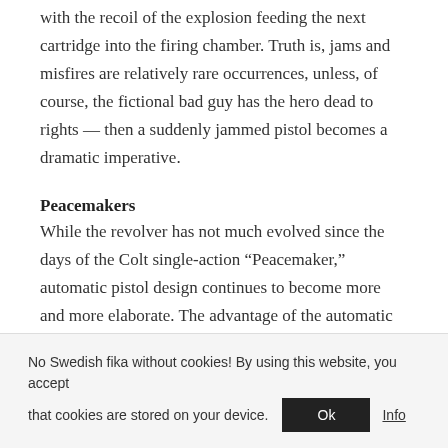with the recoil of the explosion feeding the next cartridge into the firing chamber. Truth is, jams and misfires are relatively rare occurrences, unless, of course, the fictional bad guy has the hero dead to rights — then a suddenly jammed pistol becomes a dramatic imperative.
Peacemakers
While the revolver has not much evolved since the days of the Colt single-action “Peacemaker,” automatic pistol design continues to become more and more elaborate. The advantage of the automatic over the
No Swedish fika without cookies! By using this website, you accept that cookies are stored on your device.